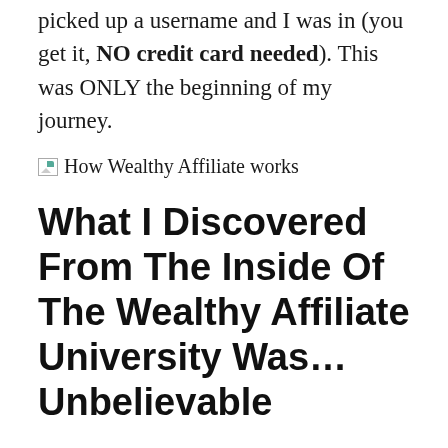picked up a username and I was in (you get it, NO credit card needed). This was ONLY the beginning of my journey.
[Figure (illustration): Broken image placeholder with alt text 'How Wealthy Affiliate works']
What I Discovered From The Inside Of The Wealthy Affiliate University Was… Unbelievable
When I got in, I saw something like a social